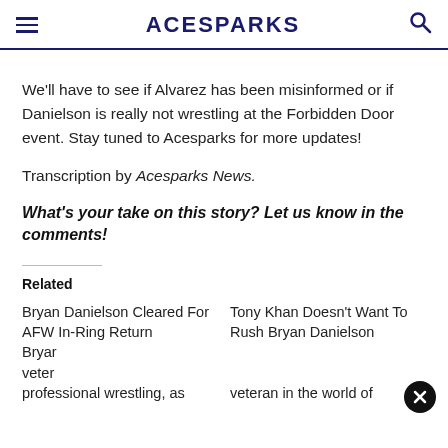ACESPARKS
We'll have to see if Alvarez has been misinformed or if Danielson is really not wrestling at the Forbidden Door event. Stay tuned to Acesparks for more updates!
Transcription by Acesparks News.
What's your take on this story? Let us know in the comments!
Related
Bryan Danielson Cleared For AFW In-Ring Return Bryar veter professional wrestling, as
Tony Khan Doesn't Want To Rush Bryan Danielson veteran in the world of